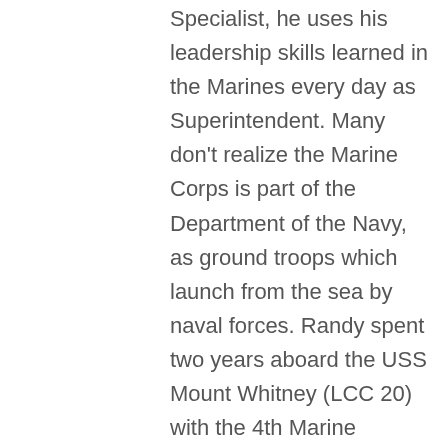Specialist, he uses his leadership skills learned in the Marines every day as Superintendent. Many don't realize the Marine Corps is part of the Department of the Navy, as ground troops which launch from the sea by naval forces. Randy spent two years aboard the USS Mount Whitney (LCC 20) with the 4th Marine Amphibious Brigade and two years at the Marine Corps Air Station (MCAS) in Tustin, CA. Both of his brothers served, one in Army Reserves and one in Maryland National Guard. Supporting children